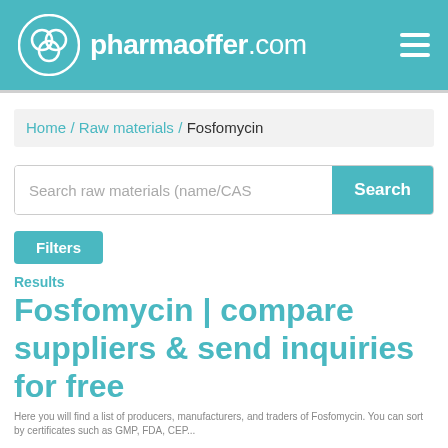pharmaoffer.com
Home / Raw materials / Fosfomycin
Search raw materials (name/CAS
Filters
Results
Fosfomycin | compare suppliers & send inquiries for free
Here you will find a list of producers, manufacturers, and traders of Fosfomycin. You can sort by certificates such as GMP, FDA, CEP...